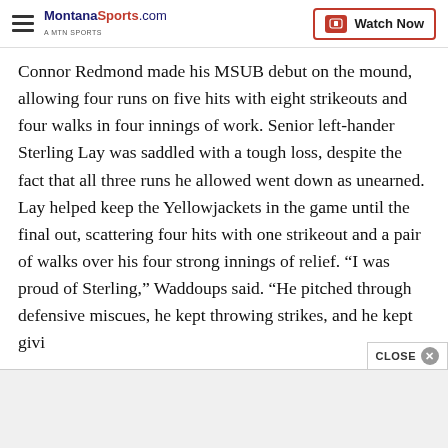MontanaSports.com | Watch Now
Connor Redmond made his MSUB debut on the mound, allowing four runs on five hits with eight strikeouts and four walks in four innings of work. Senior left-hander Sterling Lay was saddled with a tough loss, despite the fact that all three runs he allowed went down as unearned. Lay helped keep the Yellowjackets in the game until the final out, scattering four hits with one strikeout and a pair of walks over his four strong innings of relief. “I was proud of Sterling,” Waddoups said. “He pitched through defensive miscues, he kept throwing strikes, and he kept givi